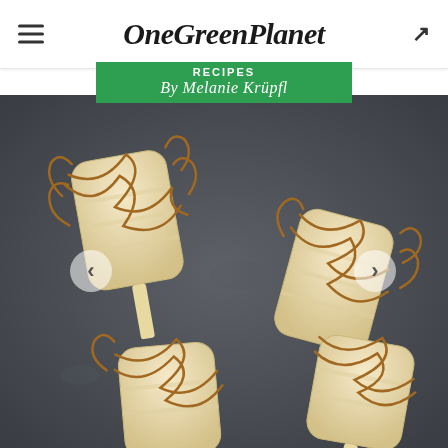OneGreenPlanet
RECIPES
By Melanie Krüpfl
[Figure (photo): Overhead view of banana-based popsicles drizzled with golden caramel sauce, arranged on a dark slate surface. Several popsicles with wooden sticks are visible with decorative caramel drizzle swirls around them.]